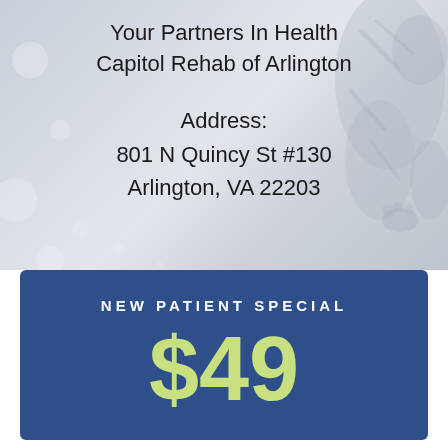[Figure (illustration): Light grey background with soft bokeh circles and faint tiger illustration in upper right corner]
Your Partners In Health
Capitol Rehab of Arlington
Address:
801 N Quincy St #130
Arlington, VA 22203
NEW PATIENT SPECIAL
$49